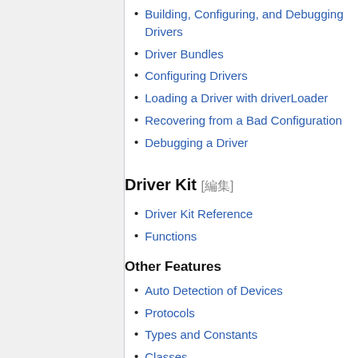Building, Configuring, and Debugging Drivers
Driver Bundles
Configuring Drivers
Loading a Driver with driverLoader
Recovering from a Bad Configuration
Debugging a Driver
Driver Kit 𝗲𝗱𝗶𝘁
Driver Kit Reference
Functions
Other Features
Auto Detection of Devices
Protocols
Types and Constants
Classes